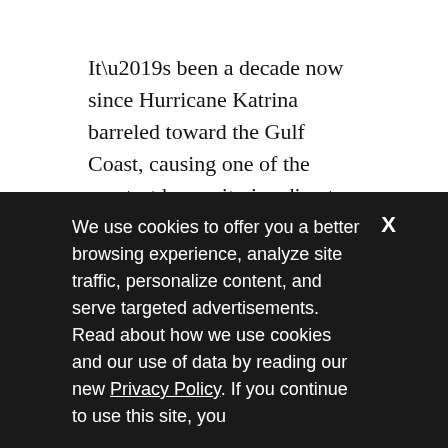It’s been a decade now since Hurricane Katrina barreled toward the Gulf Coast, causing one of the greatest humanitarian disasters to happen on American soil.
As the 10-year anniversary approaches, many stories will be told about the recovery—ours is just one. But it is one we are proud to tell, not just because we were privileged to play a role in shaping the city New Orleans would become, but also because of the inspiring role the city would
We use cookies to offer you a better browsing experience, analyze site traffic, personalize content, and serve targeted advertisements. Read about how we use cookies and our use of data by reading our new Privacy Policy. If you continue to use this site, you